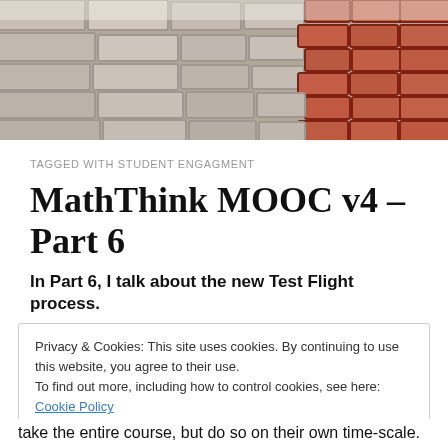[Figure (photo): Close-up photo of a red brick wall with mortar, perspective view from left side]
TAGGED WITH STUDENT ENGAGMENT
MathThink MOOC v4 – Part 6
In Part 6, I talk about the new Test Flight process.
Privacy & Cookies: This site uses cookies. By continuing to use this website, you agree to their use.
To find out more, including how to control cookies, see here: Cookie Policy
Close and accept
take the entire course, but do so on their own time-scale.